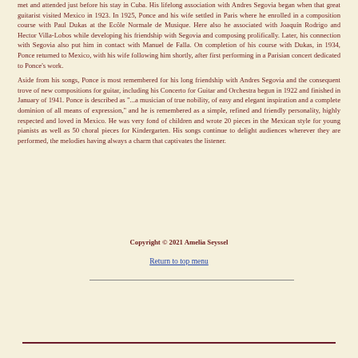met and attended just before his stay in Cuba. His lifelong association with Andres Segovia began when that great guitarist visited Mexico in 1923. In 1925, Ponce and his wife settled in Paris where he enrolled in a composition course with Paul Dukas at the Ecôle Normale de Musique. Here also he associated with Joaquín Rodrigo and Hector Villa-Lobos while developing his friendship with Segovia and composing prolifically. Later, his connection with Segovia also put him in contact with Manuel de Falla. On completion of his course with Dukas, in 1934, Ponce returned to Mexico, with his wife following him shortly, after first performing in a Parisian concert dedicated to Ponce's work.
Aside from his songs, Ponce is most remembered for his long friendship with Andres Segovia and the consequent trove of new compositions for guitar, including his Concerto for Guitar and Orchestra begun in 1922 and finished in January of 1941. Ponce is described as "...a musician of true nobility, of easy and elegant inspiration and a complete dominion of all means of expression," and he is remembered as a simple, refined and friendly personality, highly respected and loved in Mexico. He was very fond of children and wrote 20 pieces in the Mexican style for young pianists as well as 50 choral pieces for Kindergarten. His songs continue to delight audiences wherever they are performed, the melodies having always a charm that captivates the listener.
Copyright © 2021 Amelia Seyssel
Return to top menu